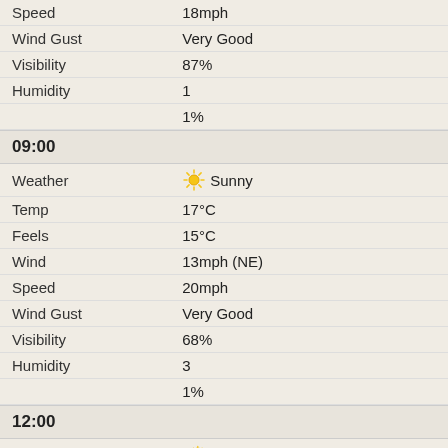| Label | Value |
| --- | --- |
| Speed | 18mph |
| Wind Gust | Very Good |
| Visibility | 87% |
| Humidity | 1 |
|  | 1% |
09:00
| Label | Value |
| --- | --- |
| Weather | Sunny |
| Temp | 17°C |
| Feels | 15°C |
| Wind | 13mph (NE) |
| Speed | 20mph |
| Wind Gust | Very Good |
| Visibility | 68% |
| Humidity | 3 |
|  | 1% |
12:00
| Label | Value |
| --- | --- |
| Weather | Sunny intervals |
| Temp | 21°C |
| Feels | 18°C |
| Wind | 11mph (NE) |
| Speed | 18mph |
| Wind Gust | Excellent |
| Visibility | 51% |
| Humidity | 5 |
|  | 1% |